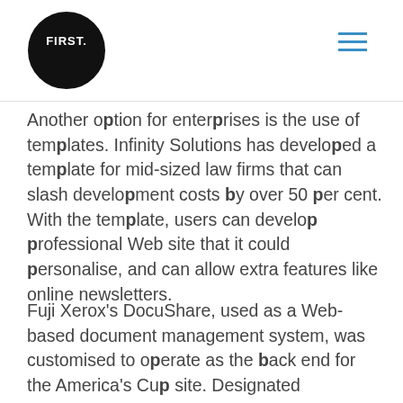FIRST.
Another option for enterprises is the use of templates. Infinity Solutions has developed a template for mid-sized law firms that can slash development costs by over 50 per cent. With the template, users can develop professional Web site that it could personalise, and can allow extra features like online newsletters.
Fuji Xerox's DocuShare, used as a Web-based document management system, was customised to operate as the back end for the America's Cup site. Designated